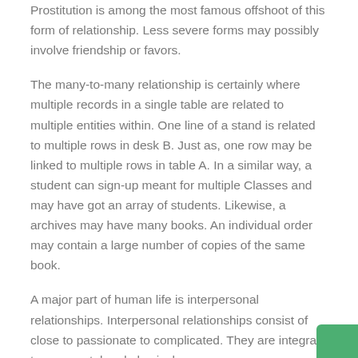Prostitution is among the most famous offshoot of this form of relationship. Less severe forms may possibly involve friendship or favors.
The many-to-many relationship is certainly where multiple records in a single table are related to multiple entities within. One line of a stand is related to multiple rows in desk B. Just as, one row may be linked to multiple rows in table A. In a similar way, a student can sign-up meant for multiple Classes and may have got an array of students. Likewise, a archives may have many books. An individual order may contain a large number of copies of the same book.
A major part of human life is interpersonal relationships. Interpersonal relationships consist of close to passionate to complicated. They are integral to our mental and physical